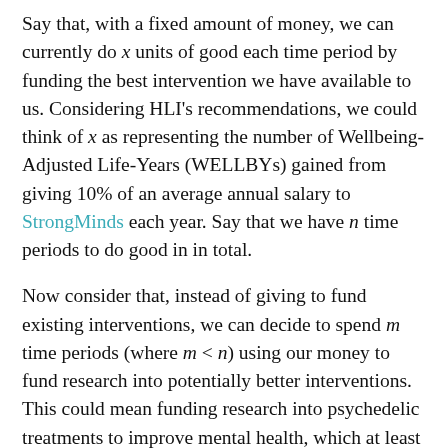Say that, with a fixed amount of money, we can currently do x units of good each time period by funding the best intervention we have available to us. Considering HLI's recommendations, we could think of x as representing the number of Wellbeing-Adjusted Life-Years (WELLBYs) gained from giving 10% of an average annual salary to StrongMinds each year. Say that we have n time periods to do good in in total.
Now consider that, instead of giving to fund existing interventions, we can decide to spend m time periods (where m < n) using our money to fund research into potentially better interventions. This could mean funding research into psychedelic treatments to improve mental health, which at least has the potential to uncover a more effective mental health intervention than the group talk therapy utilised by StrongMinds. In this